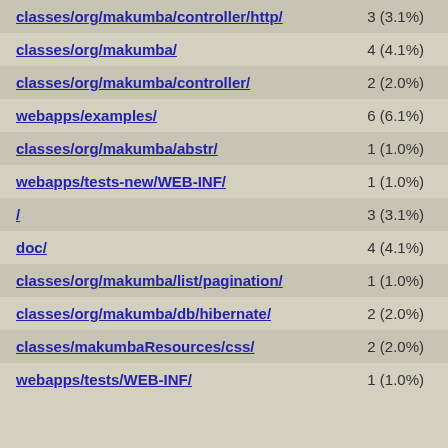| Path | Count |
| --- | --- |
| classes/org/makumba/controller/http/ | 3 (3.1%) |
| classes/org/makumba/ | 4 (4.1%) |
| classes/org/makumba/controller/ | 2 (2.0%) |
| webapps/examples/ | 6 (6.1%) |
| classes/org/makumba/abstr/ | 1 (1.0%) |
| webapps/tests-new/WEB-INF/ | 1 (1.0%) |
| / | 3 (3.1%) |
| doc/ | 4 (4.1%) |
| classes/org/makumba/list/pagination/ | 1 (1.0%) |
| classes/org/makumba/db/hibernate/ | 2 (2.0%) |
| classes/makumbaResources/css/ | 2 (2.0%) |
| webapps/tests/WEB-INF/ | 1 (1.0%) |